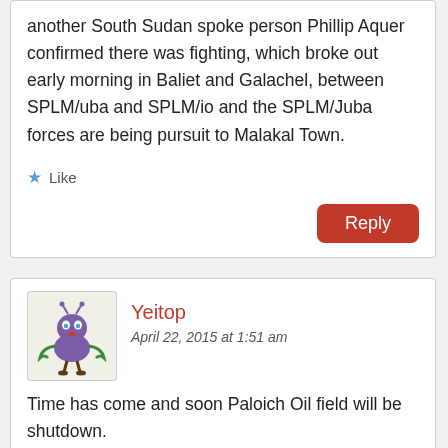another South Sudan spoke person Phillip Aquer confirmed there was fighting, which broke out early morning in Baliet and Galachel, between SPLM/uba and SPLM/io and the SPLM/Juba forces are being pursuit to Malakal Town.
Like
Reply
Yeitop
April 22, 2015 at 1:51 am
Time has come and soon Paloich Oil field will be shutdown.